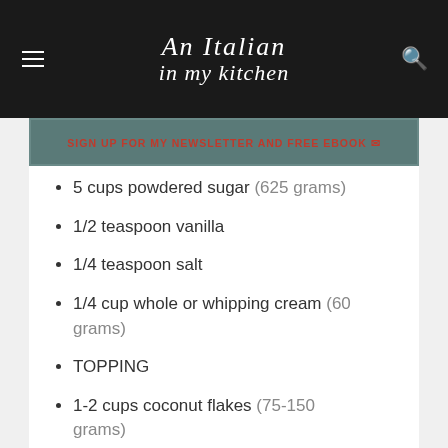An Italian in my kitchen
SIGN UP FOR MY NEWSLETTER AND FREE EBOOK ✉
5 cups powdered sugar (625 grams)
1/2 teaspoon vanilla
1/4 teaspoon salt
1/4 cup whole or whipping cream (60 grams)
TOPPING
1-2 cups coconut flakes (75-150 grams)